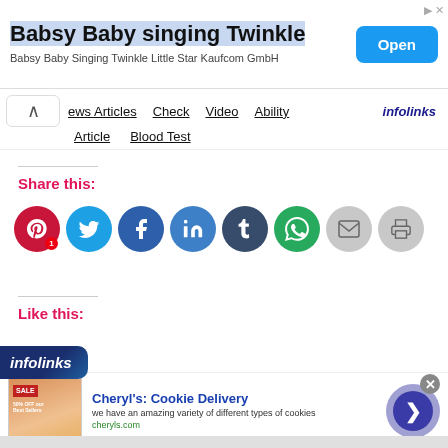[Figure (screenshot): Advertisement banner: Babsy Baby singing Twinkle with Open button]
[Figure (screenshot): Navigation bar with links: News Articles, Check, Video, Ability, Article, Blood Test, infolinks label]
Share this:
[Figure (screenshot): Social share icon buttons: Pinterest (1), Twitter, Facebook, LinkedIn, Tumblr, WhatsApp, Email, Print]
Like this:
[Figure (screenshot): Infolinks advertisement bar at bottom with Cheryl's: Cookie Delivery ad]